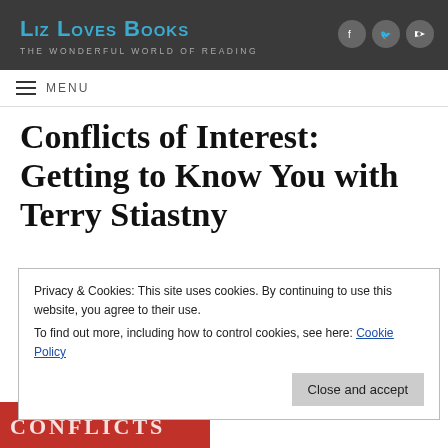Liz Loves Books — THE WONDERFUL WORLD OF READING
MENU
Conflicts of Interest: Getting to Know You with Terry Stiastny
Privacy & Cookies: This site uses cookies. By continuing to use this website, you agree to their use. To find out more, including how to control cookies, see here: Cookie Policy
Close and accept